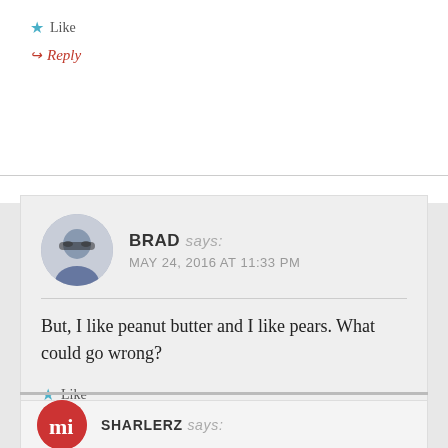★ Like
↪ Reply
BRAD says: MAY 24, 2016 AT 11:33 PM
But, I like peanut butter and I like pears. What could go wrong?
★ Like
↪ Reply
SHARLERZ says: